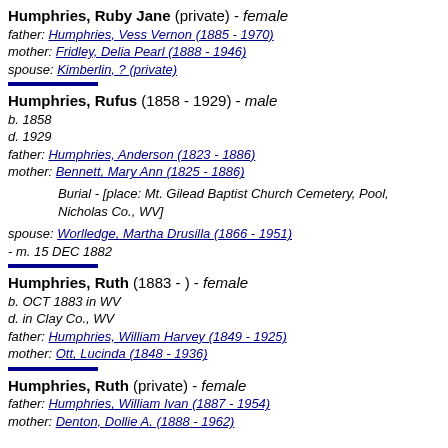Humphries, Ruby Jane (private) - female
father: Humphries, Vess Vernon (1885 - 1970)
mother: Fridley, Delia Pearl (1888 - 1946)
spouse: Kimberlin, ? (private)
Humphries, Rufus (1858 - 1929) - male
b. 1858
d. 1929
father: Humphries, Anderson (1823 - 1886)
mother: Bennett, Mary Ann (1825 - 1886)
Burial - [place: Mt. Gilead Baptist Church Cemetery, Pool, Nicholas Co., WV]
spouse: Worlledge, Martha Drusilla (1866 - 1951)
- m. 15 DEC 1882
Humphries, Ruth (1883 - ) - female
b. OCT 1883 in WV
d. in Clay Co., WV
father: Humphries, William Harvey (1849 - 1925)
mother: Ott, Lucinda (1848 - 1936)
Humphries, Ruth (private) - female
father: Humphries, William Ivan (1887 - 1954)
mother: Denton, Dollie A. (1888 - 1962)